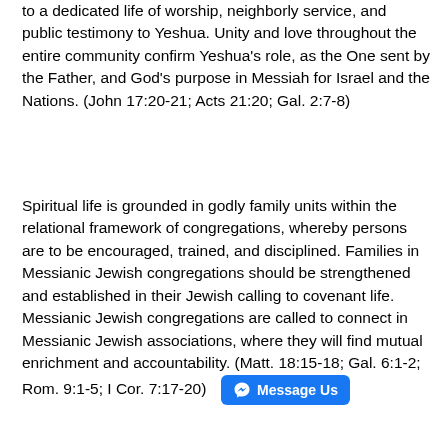to a dedicated life of worship, neighborly service, and public testimony to Yeshua. Unity and love throughout the entire community confirm Yeshua's role, as the One sent by the Father, and God's purpose in Messiah for Israel and the Nations. (John 17:20-21; Acts 21:20; Gal. 2:7-8)
Spiritual life is grounded in godly family units within the relational framework of congregations, whereby persons are to be encouraged, trained, and disciplined. Families in Messianic Jewish congregations should be strengthened and established in their Jewish calling to covenant life. Messianic Jewish congregations are called to connect in Messianic Jewish associations, where they will find mutual enrichment and accountability. (Matt. 18:15-18; Gal. 6:1-2; Rom. 9:1-5; I Cor. 7:17-20)